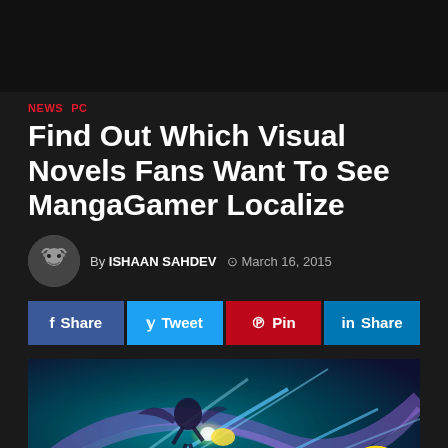NEWS  PC
Find Out Which Visual Novels Fans Want To See MangaGamer Localize
By ISHAAN SAHDEV  March 16, 2015
f Share  Tweet  Pin  in Share
[Figure (photo): Action scene from a visual novel game with a character attacking amid blue and purple light beams, with a gold game controller badge overlay]